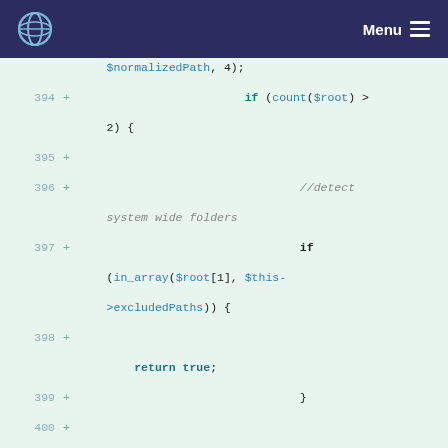Menu
[Figure (screenshot): Code diff viewer showing PHP code lines 394-404 with syntax highlighting on a light green background. Lines show a diff with added lines (marked with +). Code includes PHP conditionals checking count($root), in_array with $this->excludedPaths, return true, and variable assignments $v1 and $v2 involving $this->userManager->userExists and in_array calls.]